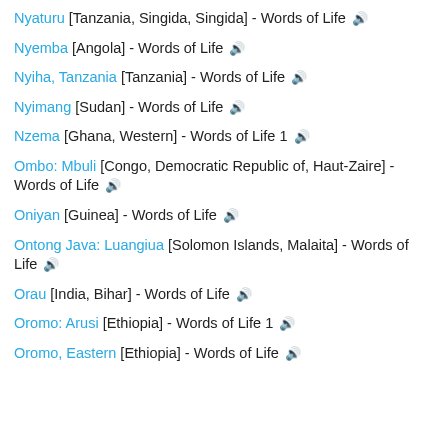Nyaturu [Tanzania, Singida, Singida] - Words of Life 🔊
Nyemba [Angola] - Words of Life 🔊
Nyiha, Tanzania [Tanzania] - Words of Life 🔊
Nyimang [Sudan] - Words of Life 🔊
Nzema [Ghana, Western] - Words of Life 1 🔊
Ombo: Mbuli [Congo, Democratic Republic of, Haut-Zaire] - Words of Life 🔊
Oniyan [Guinea] - Words of Life 🔊
Ontong Java: Luangiua [Solomon Islands, Malaita] - Words of Life 🔊
Orau [India, Bihar] - Words of Life 🔊
Oromo: Arusi [Ethiopia] - Words of Life 1 🔊
Oromo, Eastern [Ethiopia] - Words of Life 🔊